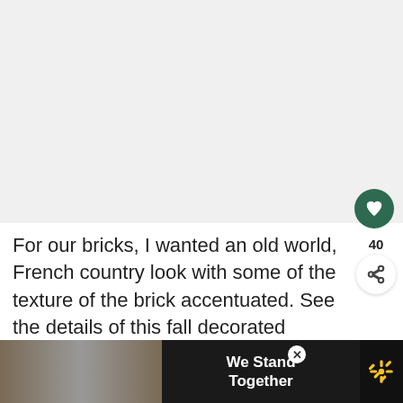[Figure (photo): Large photo area — appears blank/white, likely a painted brick fireplace photo]
For our bricks, I wanted an old world, French country look with some of the texture of the brick accentuated. See the details of this fall decorated version of the painted brick fireplace here: Painted brick fireplace with fall decor
[Figure (infographic): Advertisement bar at bottom: 'We Stand Together' with group of people photo and Walmart logo]
[Figure (infographic): What's Next panel: '9 No-Fail Neutral Pal...']